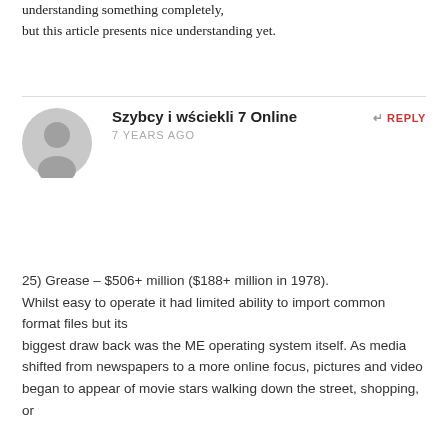understanding something completely,
but this article presents nice understanding yet.
Szybcy i wściekli 7 Online
7 YEARS AGO
[Figure (illustration): Generic user avatar icon — grey circle with silhouette of a person]
25) Grease – $506+ million ($188+ million in 1978).
Whilst easy to operate it had limited ability to import common format files but its biggest draw back was the ME operating system itself. As media shifted from newspapers to a more online focus, pictures and video began to appear of movie stars walking down the street, shopping, or